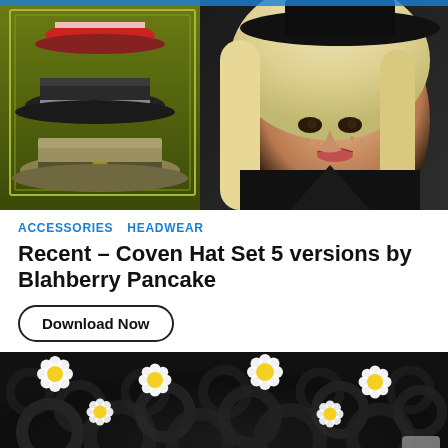[Figure (illustration): Sims 4 game screenshot showing a stack of coven-style hats on a green/olive background on the left, and a blonde female Sim character wearing a black wide-brim witch hat on the right]
ACCESSORIES  HEADWEAR
Recent – Coven Hat Set 5 versions by Blahberry Pancake
Download Now
[Figure (illustration): Sims 4 game screenshot showing a female Sim character with black curly hair adorned with white daisy flowers]